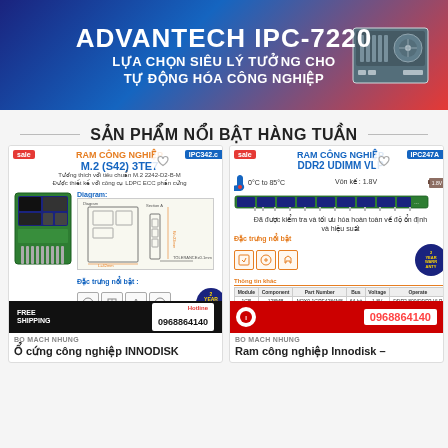[Figure (photo): Advantech IPC-7220 industrial PC advertisement banner with blue and red gradient background, product image on right, Vietnamese text]
SẢN PHẨM NỔI BẬT HÀNG TUẦN
[Figure (screenshot): Product card for Ổ cứng công nghiệp INNODISK - RAM CÔNG NGHIỆP M.2 (S42) 3TE7 with diagram, features icons, warranty badge, free shipping bar, hotline 0968864140]
[Figure (screenshot): Product card for Ram công nghiệp Innodisk - RAM CÔNG NGHIỆP DDR2 UDIMM VLP with temperature range, RAM image, features, warranty badge, hotline 0968864140]
BO MACH NHUNG
Ổ cứng công nghiệp INNODISK
BO MACH NHUNG
Ram công nghiệp Innodisk –